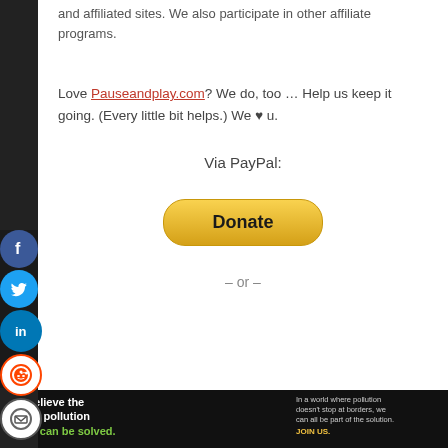and affiliated sites. We also participate in other affiliate programs.
Love Pauseandplay.com? We do, too … Help us keep it going. (Every little bit helps.) We ♥ u.
Via PayPal:
[Figure (other): Yellow PayPal Donate button, rounded rectangle shape]
– or –
Recent Posts
Pause & Play Today: Sept. 2, 2022
[Figure (other): Pure Earth pollution crisis advertisement banner at the bottom: 'We believe the global pollution crisis can be solved.' with Pure Earth logo]